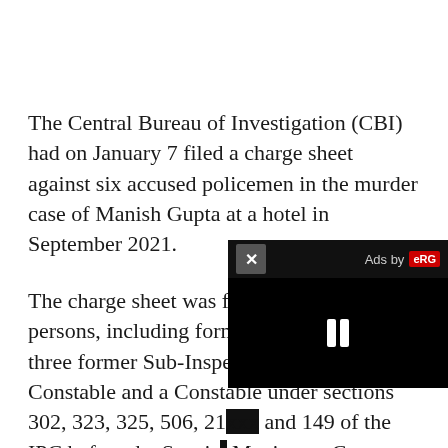The Central Bureau of Investigation (CBI) had on January 7 filed a charge sheet against six accused policemen in the murder case of Manish Gupta at a hotel in September 2021.
The charge sheet was filed against six persons, including former SHO or Inspector, three former Sub-Inspectors, a Head Constable and a Constable under sections 302, 323, 325, 506, 21[...] and 149 of the IPC before the Special Magistrate Court, Lucknow.
It has been alleged in the charge she[et] September 27, Ramgarh Tal Inspector J.N. Singh,
[Figure (other): Video ad overlay in bottom-right corner with close button (X), 'Ads by ERG' label, black video area with pause button (two vertical bars)]